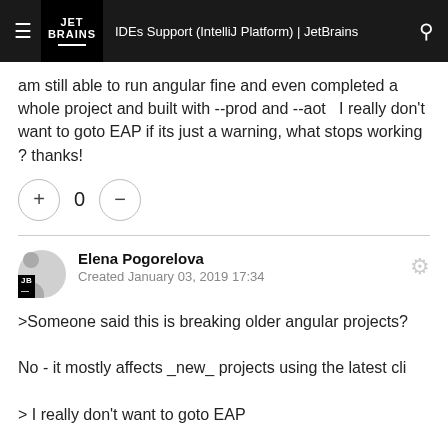IDEs Support (IntelliJ Platform) | JetBrains
am still able to run angular fine and even completed a whole project and built with --prod and --aot  I really don't want to goto EAP if its just a warning, what stops working ? thanks!
Elena Pogorelova
Created January 03, 2019 17:34
>Someone said this is breaking older angular projects?

No - it mostly affects _new_ projects using the latest cli

> I really don't want to goto EAP